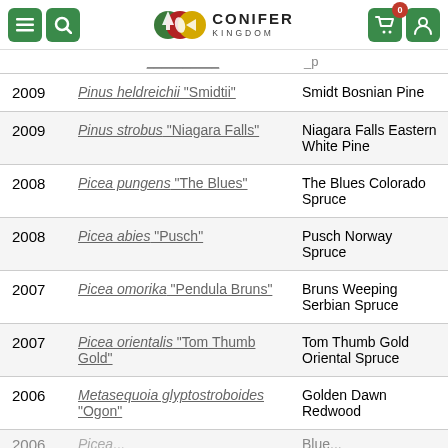Conifer Kingdom - navigation header with menu, search, logo, cart (0), user buttons
| Year | Scientific Name | Common Name |
| --- | --- | --- |
|  |  | (partial/clipped row) |
| 2009 | Pinus heldreichii "Smidtii" | Smidt Bosnian Pine |
| 2009 | Pinus strobus "Niagara Falls" | Niagara Falls Eastern White Pine |
| 2008 | Picea pungens "The Blues" | The Blues Colorado Spruce |
| 2008 | Picea abies "Pusch" | Pusch Norway Spruce |
| 2007 | Picea omorika "Pendula Bruns" | Bruns Weeping Serbian Spruce |
| 2007 | Picea orientalis "Tom Thumb Gold" | Tom Thumb Gold Oriental Spruce |
| 2006 | Metasequoia glyptostroboides "Ogon" | Golden Dawn Redwood |
| 2006 | (Picea... partial) | Blue... (partial) |